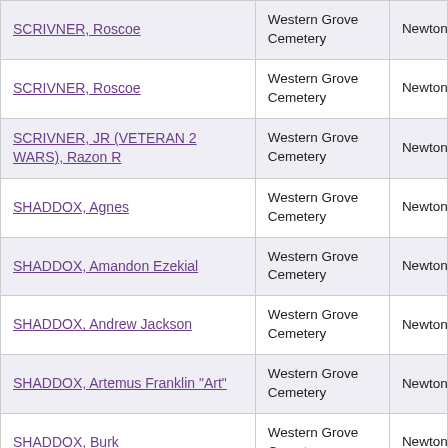| Name | Cemetery | County |
| --- | --- | --- |
| SCRIVNER, Roscoe | Western Grove Cemetery | Newton |
| SCRIVNER, Roscoe | Western Grove Cemetery | Newton |
| SCRIVNER, JR (VETERAN 2 WARS), Razon R | Western Grove Cemetery | Newton |
| SHADDOX, Agnes | Western Grove Cemetery | Newton |
| SHADDOX, Amandon Ezekial | Western Grove Cemetery | Newton |
| SHADDOX, Andrew Jackson | Western Grove Cemetery | Newton |
| SHADDOX, Artemus Franklin "Art" | Western Grove Cemetery | Newton |
| SHADDOX, Burk | Western Grove Cemetery | Newton |
| SHADDOX, Dug W. | Western Grove Cemetery | Newton |